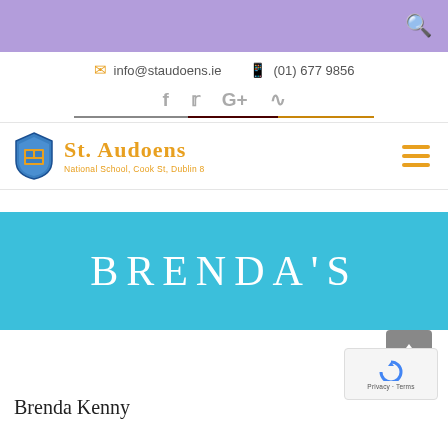Search bar (purple)
info@staudoens.ie  (01) 677 9856
[Figure (other): Social media icons: Facebook, Twitter, Google+, RSS feed]
[Figure (logo): St. Audoens National School, Cook St, Dublin 8 shield logo with school name in golden text]
BRENDA'S
Brenda Kenny